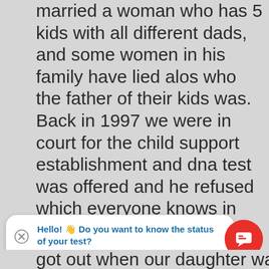married a woman who has 5 kids with all different dads, and some women in his family have lied alos who the father of their kids was. Back in 1997 we were in court for the child support establishment and dna test was offered and he refused which everyone knows in our town that that was his kid including his family, we livedin a town where everybody knows each other or is related to each other some way. After I was 2+ months he got locked up the end of April 1996, I concieved between Feb 21-23 1996,
got out when our daughter was almost 7